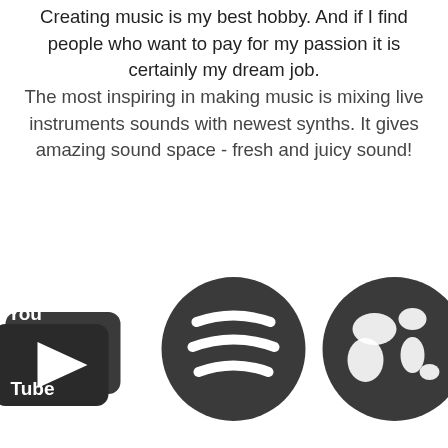Creating music is my best hobby. And if I find people who want to pay for my passion it is certainly my dream job. The most inspiring in making music is mixing live instruments sounds with newest synths. It gives amazing sound space - fresh and juicy sound!
[Figure (illustration): Three overlapping dark icons: YouTube logo, Spotify logo, and a globe/website icon]
Aleksander Pankowski vel Jankowski (APvJ)